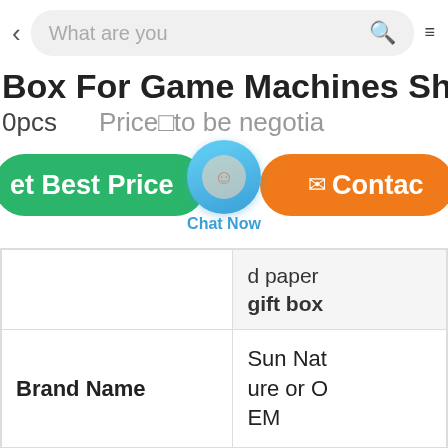< What are you [search] ≡
Box For Game Machines Shippp
0pcs   Price□to be negotia
[Figure (screenshot): Green 'Get Best Price' button on the left, blue chat bubble with 'Chat Now' label in the center, and orange 'Contac' (Contact) button on the right]
|  | d paper gift box |
| Brand Name | Sun Nature or OEM |